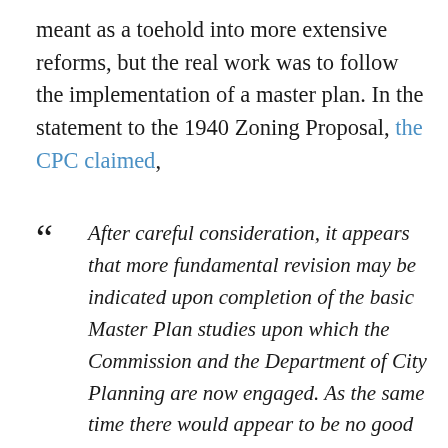meant as a toehold into more extensive reforms, but the real work was to follow the implementation of a master plan. In the statement to the 1940 Zoning Proposal, the CPC claimed,
After careful consideration, it appears that more fundamental revision may be indicated upon completion of the basic Master Plan studies upon which the Commission and the Department of City Planning are now engaged. As the same time there would appear to be no good reason for denying to the residents of this City the advantages to be gained